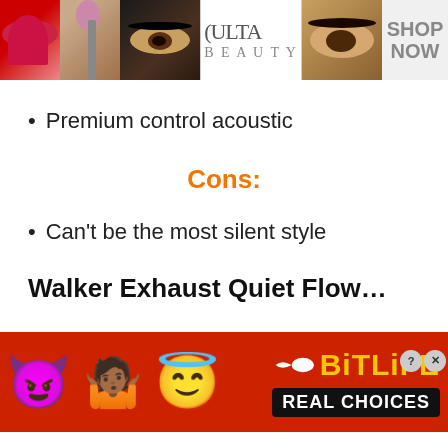[Figure (illustration): Ulta Beauty advertisement banner showing makeup images (lips, brush, eye), Ulta Beauty logo, model eyes, and SHOP NOW text]
Premium control acoustic
Cons:
Can't be the most silent style
Walker Exhaust Quiet Flow…
[Figure (illustration): BitLife app advertisement banner with devil emoji, person shrugging emoji, angel emoji, sperm icon, BitLife logo in yellow, and REAL CHOICES text on black background. Red background. Close and question buttons.]